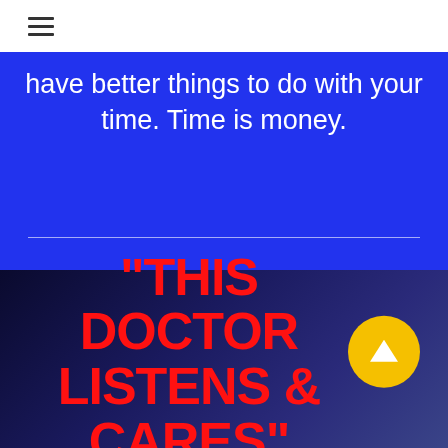≡
have better things to do with your time. Time is money.
"THIS DOCTOR LISTENS & CARES"